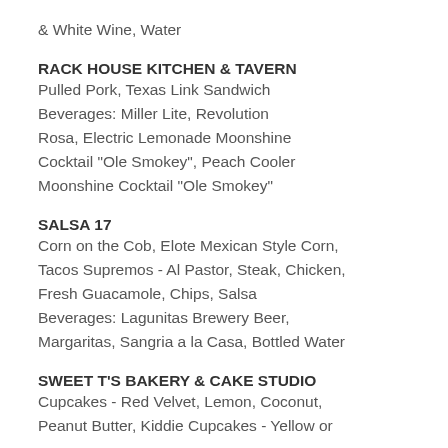& White Wine, Water
RACK HOUSE KITCHEN & TAVERN
Pulled Pork, Texas Link Sandwich Beverages: Miller Lite, Revolution Rosa, Electric Lemonade Moonshine Cocktail "Ole Smokey", Peach Cooler Moonshine Cocktail "Ole Smokey"
SALSA 17
Corn on the Cob, Elote Mexican Style Corn, Tacos Supremos - Al Pastor, Steak, Chicken, Fresh Guacamole, Chips, Salsa Beverages: Lagunitas Brewery Beer, Margaritas, Sangria a la Casa, Bottled Water
SWEET T'S BAKERY & CAKE STUDIO
Cupcakes - Red Velvet, Lemon, Coconut, Peanut Butter, Kiddie Cupcakes - Yellow or